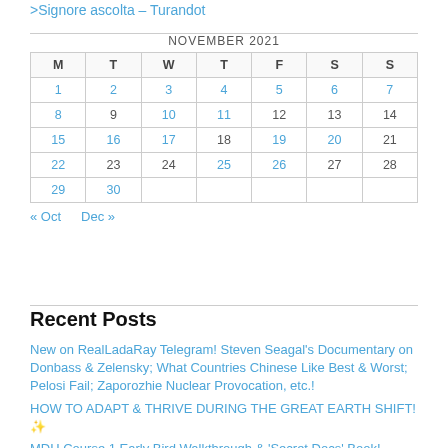>Signore ascolta – Turandot
| M | T | W | T | F | S | S |
| --- | --- | --- | --- | --- | --- | --- |
| 1 | 2 | 3 | 4 | 5 | 6 | 7 |
| 8 | 9 | 10 | 11 | 12 | 13 | 14 |
| 15 | 16 | 17 | 18 | 19 | 20 | 21 |
| 22 | 23 | 24 | 25 | 26 | 27 | 28 |
| 29 | 30 |  |  |  |  |  |
« Oct   Dec »
Recent Posts
New on RealLadaRay Telegram! Steven Seagal's Documentary on Donbass & Zelensky; What Countries Chinese Like Best & Worst; Pelosi Fail; Zaporozhie Nuclear Provocation, etc.!
HOW TO ADAPT & THRIVE DURING THE GREAT EARTH SHIFT! ✨
MDH Course 1 Early Bird Walkthrough & 'Secret Docs' Book!